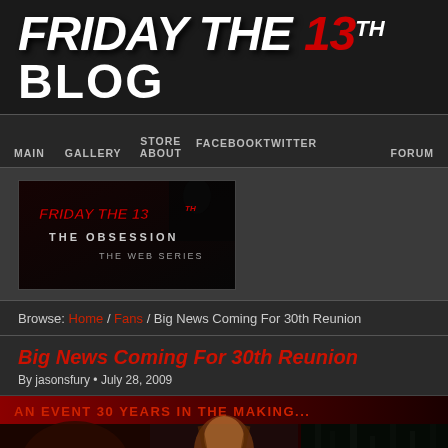[Figure (logo): Friday the 13th Blog logo with horror-style dripping text on dark background]
MAIN | GALLERY | STORE | ABOUT | FACEBOOKTWITTER | FORUM
[Figure (screenshot): Friday the 13th: The Obsession - The Web Series promo image with horror movie style]
Browse: Home / Fans / Big News Coming For 30th Reunion
Big News Coming For 30th Reunion
By jasonsfury • July 28, 2009
[Figure (photo): AN EVENT 30 YEARS IN THE MAKING... promotional image collage with monster face, woman, woods scene, and CAM text]